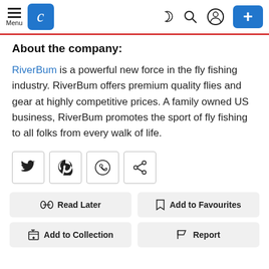Menu | [logo] | [dark mode] [search] [account] [+]
About the company:
RiverBum is a powerful new force in the fly fishing industry. RiverBum offers premium quality flies and gear at highly competitive prices. A family owned US business, RiverBum promotes the sport of fly fishing to all folks from every walk of life.
[Figure (other): Social sharing icon buttons: Twitter, Pinterest, WhatsApp, Share]
[Figure (other): Action buttons: Read Later, Add to Favourites, Add to Collection, Report]